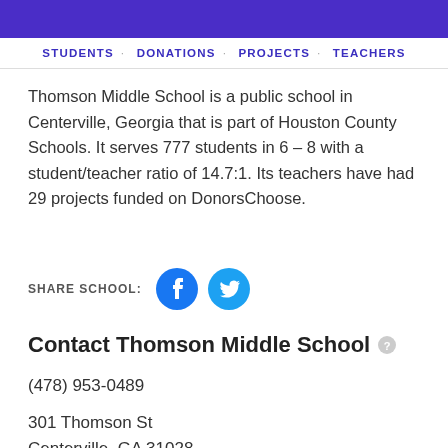[Figure (other): Purple decorative header banner]
STUDENTS · DONATIONS · PROJECTS · TEACHERS
Thomson Middle School is a public school in Centerville, Georgia that is part of Houston County Schools. It serves 777 students in 6 – 8 with a student/teacher ratio of 14.7:1. Its teachers have had 29 projects funded on DonorsChoose.
SHARE SCHOOL: [Facebook icon] [Twitter icon]
Contact Thomson Middle School
(478) 953-0489
301 Thomson St
Centerville, GA 31028